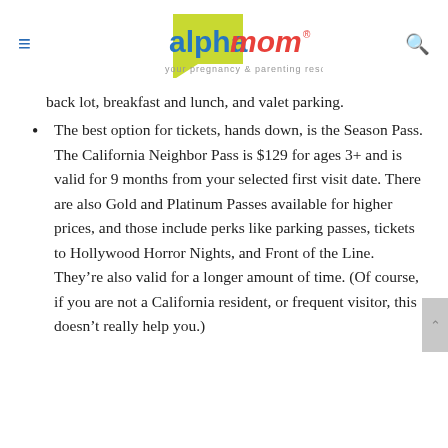alpha mom — your pregnancy & parenting resource
back lot, breakfast and lunch, and valet parking.
The best option for tickets, hands down, is the Season Pass. The California Neighbor Pass is $129 for ages 3+ and is valid for 9 months from your selected first visit date. There are also Gold and Platinum Passes available for higher prices, and those include perks like parking passes, tickets to Hollywood Horror Nights, and Front of the Line. They're also valid for a longer amount of time. (Of course, if you are not a California resident, or frequent visitor, this doesn't really help you.)